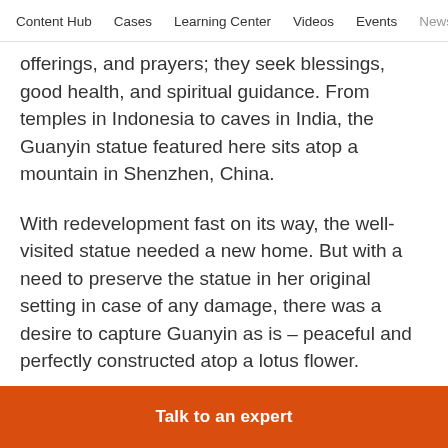Content Hub   Cases   Learning Center   Videos   Events   News
offerings, and prayers; they seek blessings, good health, and spiritual guidance. From temples in Indonesia to caves in India, the Guanyin statue featured here sits atop a mountain in Shenzhen, China.
With redevelopment fast on its way, the well-visited statue needed a new home. But with a need to preserve the statue in her original setting in case of any damage, there was a desire to capture Guanyin as is – peaceful and perfectly constructed atop a lotus flower.
Talk to an expert